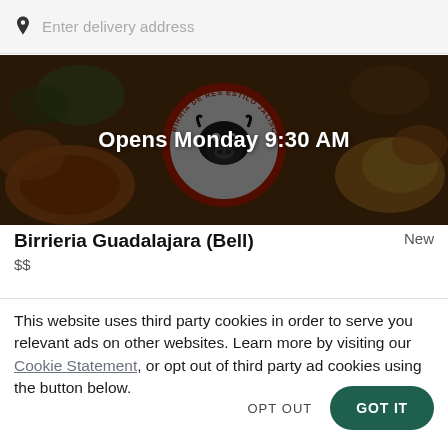Enter delivery address
[Figure (photo): Restaurant banner image showing food items and the Birrieria Guadalajara logo (a cow head in a circle with text 'Birria de Res Estilo Jalisco'), with overlay text 'Opens Monday 9:30 AM']
Birrieria Guadalajara (Bell)   New
$$
This website uses third party cookies in order to serve you relevant ads on other websites. Learn more by visiting our Cookie Statement, or opt out of third party ad cookies using the button below.
OPT OUT
GOT IT